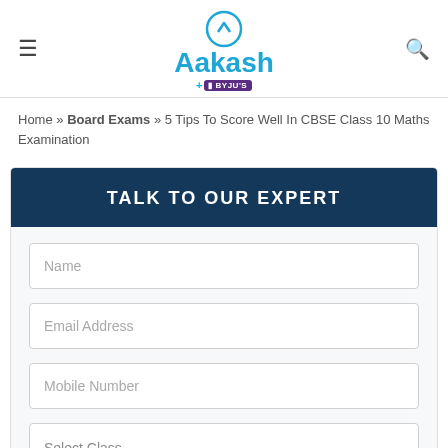Aakash + BYJU'S
Home » Board Exams » 5 Tips To Score Well In CBSE Class 10 Maths Examination
TALK TO OUR EXPERT
Name
Email Address
Mobile Number
Select Class
ENQUIRE